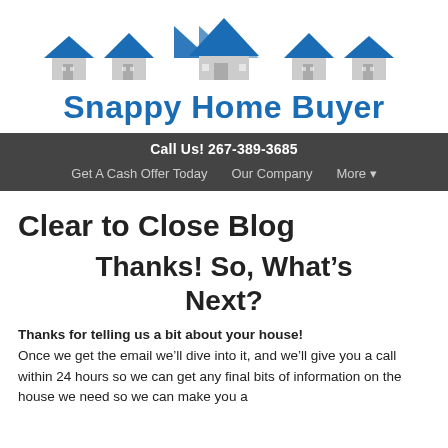[Figure (logo): Snappy Home Buyer logo with houses and chevron/arrow icons in blue and gray, and the text 'Snappy Home Buyer' in blue bold font]
Call Us! 267-389-3685
Get A Cash Offer Today   Our Company   More ▾
Clear to Close Blog
Thanks! So, What's Next?
Thanks for telling us a bit about your house! Once we get the email we'll dive into it, and we'll give you a call within 24 hours so we can get any final bits of information on the house we need so we can make you a